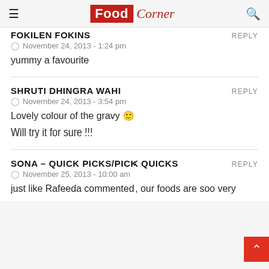Food Corner
FOKILEN FOKINS
REPLY
November 24, 2013 - 1:24 pm
yummy a favourite
SHRUTI DHINGRA WAHI
REPLY
November 24, 2013 - 3:54 pm
Lovely colour of the gravy 🙂
Will try it for sure !!!
SONA – QUICK PICKS/PICK QUICKS
REPLY
November 25, 2013 - 10:00 am
just like Rafeeda commented, our foods are soo very